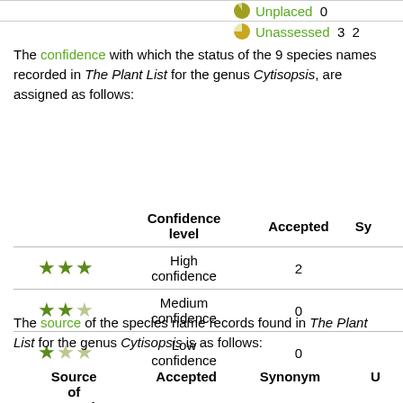|  | Status | Count1 | Count2 |
| --- | --- | --- | --- |
| Unplaced | 0 |  |  |
| Unassessed | 3 | 2 |  |
The confidence with which the status of the 9 species names recorded in The Plant List for the genus Cytisopsis, are assigned as follows:
|  | Confidence level | Accepted | Sy |
| --- | --- | --- | --- |
| ★★★ | High confidence | 2 |  |
| ★★☆ | Medium confidence | 0 |  |
| ★☆☆ | Low confidence | 0 |  |
The source of the species name records found in The Plant List for the genus Cytisopsis is as follows:
| Source of record | Accepted | Synonym | U |
| --- | --- | --- | --- |